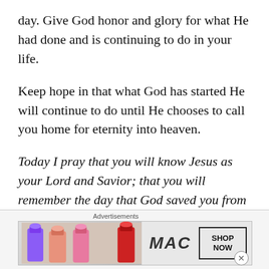day. Give God honor and glory for what He had done and is continuing to do in your life.
Keep hope in that what God has started He will continue to do until He chooses to call you home for eternity into heaven.
Today I pray that you will know Jesus as your Lord and Savior; that you will remember the day that God saved you from your sins; that you will continue to walk the path God has for
Advertisements
[Figure (photo): MAC Cosmetics advertisement banner showing lipsticks in purple, pink, and red shades alongside the MAC logo and a 'SHOP NOW' button.]